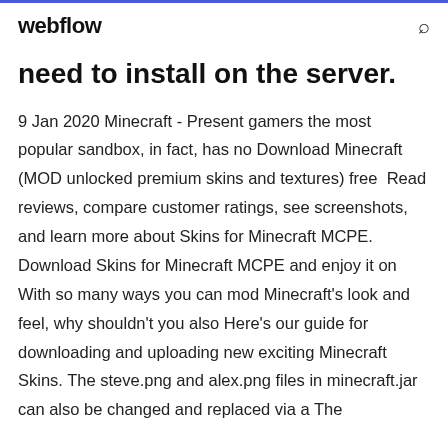webflow
need to install on the server.
9 Jan 2020 Minecraft - Present gamers the most popular sandbox, in fact, has no Download Minecraft (MOD unlocked premium skins and textures) free  Read reviews, compare customer ratings, see screenshots, and learn more about Skins for Minecraft MCPE. Download Skins for Minecraft MCPE and enjoy it on  With so many ways you can mod Minecraft's look and feel, why shouldn't you also Here's our guide for downloading and uploading new exciting Minecraft Skins. The steve.png and alex.png files in minecraft.jar can also be changed and replaced via a The